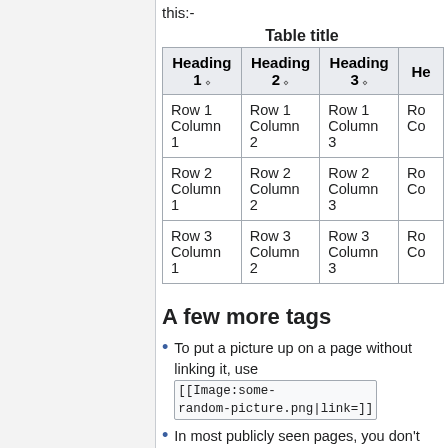this:-
Table title
| Heading 1 | Heading 2 | Heading 3 | He... |
| --- | --- | --- | --- |
| Row 1 Column 1 | Row 1 Column 2 | Row 1 Column 3 | Ro... Co... |
| Row 2 Column 1 | Row 2 Column 2 | Row 2 Column 3 | Ro... Co... |
| Row 3 Column 1 | Row 3 Column 2 | Row 3 Column 3 | Ro... Co... |
A few more tags
To put a picture up on a page without linking it, use [[Image:some-random-picture.png|link=]]
In most publicly seen pages, you don't really want a table of contents. In this case, you want to put